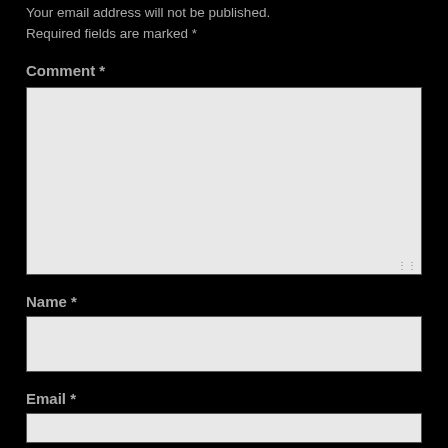Your email address will not be published.
Required fields are marked *
Comment *
[Figure (screenshot): Large textarea input box with light gray background and resize handle in bottom-right corner]
Name *
[Figure (screenshot): Single-line text input box with light gray background]
Email *
[Figure (screenshot): Single-line text input box with light gray background, partially visible at bottom of page]